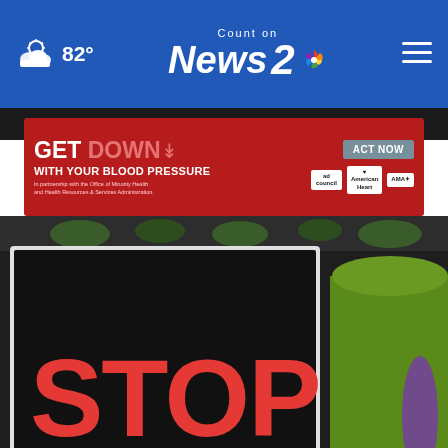82° Count on News 2
[Figure (screenshot): Advertisement banner: GET DOWN WITH YOUR BLOOD PRESSURE - ACT NOW button, ad council, American Heart Association, AMA logos]
[Figure (photo): Protest sign reading STOP MURDER BY POLICE with photos of victims below, green jacket visible on right side]
[Figure (screenshot): Petco advertisement: Rewards With Every Purchase, Petco, with blue arrow button on right]